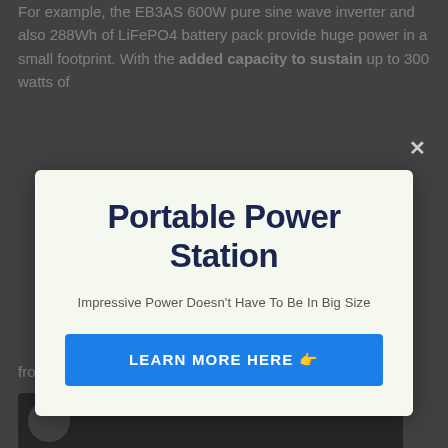For example, the EB3AS 600W pure sine wave inverter and also 288Wh of LiFePO4 battery pack provide huge power in a small footprint. With the added capacity to sustain up to 300 watts of
[Figure (screenshot): Modal popup dialog with light yellow-green background containing title 'Portable Power Station', subtitle 'Impressive Power Doesn't Have To Be In Big Size', and a blue button labeled 'LEARN MORE HERE 👉'. An X close button appears in the top right of the overlay.]
from 0-80% in No thanks, I'm not interested!